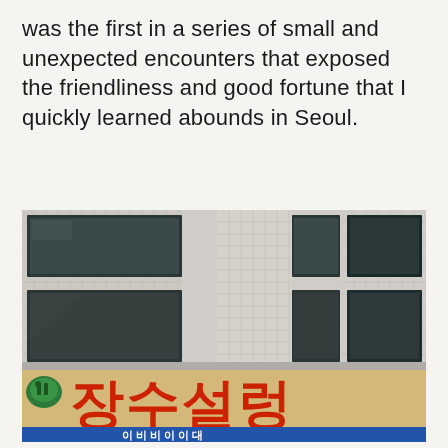was the first in a series of small and unexpected encounters that exposed the friendliness and good fortune that I quickly learned abounds in Seoul.
[Figure (photo): Photograph of a building facade with white tile/brick texture and dark windows, with a Korean-language sign below reading '장수설렁' in large red characters on a beige background, and partially visible Korean text at the very bottom.]